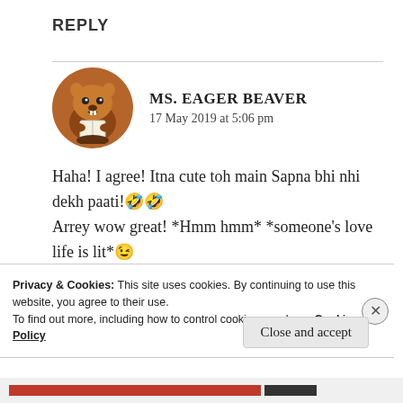REPLY
[Figure (illustration): Circular avatar of a cartoon beaver illustration on brown background]
MS. EAGER BEAVER
17 May 2019 at 5:06 pm
Haha! I agree! Itna cute toh main Sapna bhi nhi dekh paati!🤣🤣
Arrey wow great! *Hmm hmm* *someone's love life is lit*😉
Haha! Not my skill, but yours, you created a
Privacy & Cookies: This site uses cookies. By continuing to use this website, you agree to their use.
To find out more, including how to control cookies, see here: Cookie Policy
Close and accept